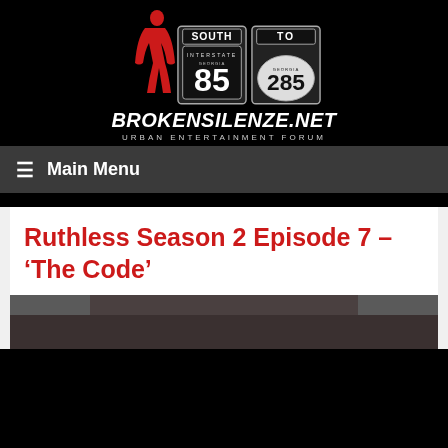[Figure (logo): BrokenSilenze.net website logo with red silhouette figure and two interstate highway signs (I-85 South Georgia and I-285 Georgia To), with site name BROKENSILENZE.NET and tagline URBAN ENTERTAINMENT FORUM]
≡  Main Menu
Ruthless Season 2 Episode 7 – ‘The Code’
[Figure (photo): Partial view of a photo from the TV show Ruthless, partially visible at the bottom of the page]